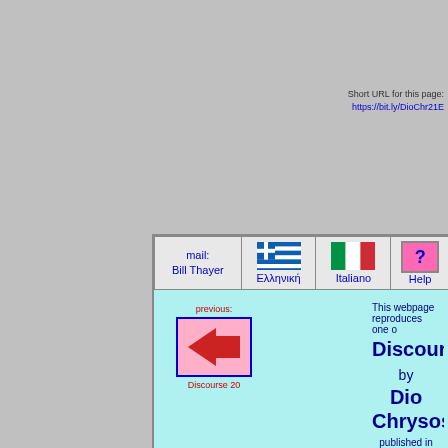Short URL for this page:
https://bit.ly/DioChr21E
mail:
Bill Thayer
[Figure (illustration): Greek flag icon]
Ελληνική
[Figure (illustration): Italian flag icon]
Italiano
[Figure (illustration): Help icon with question mark]
Help
previous:
[Figure (illustration): Red left-pointing arrow navigation button]
Discourse 20
This webpage reproduces one o
Discourses
by
Dio Chrysostom
published in the Loeb Classical Libr
The text is in the public doma
This page has been carefully pro
and I believe it to be free of err
If you find a mistake though
please let me know!